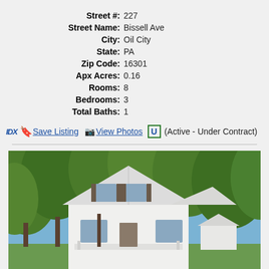| Field | Value |
| --- | --- |
| Street #: | 227 |
| Street Name: | Bissell Ave |
| City: | Oil City |
| State: | PA |
| Zip Code: | 16301 |
| Apx Acres: | 0.16 |
| Rooms: | 8 |
| Bedrooms: | 3 |
| Total Baths: | 1 |
IDX [bookmark] Save Listing [camera] View Photos [U] (Active - Under Contract)
[Figure (photo): Exterior photo of a white two-story house with a peaked roof, front porch, and shuttered windows, surrounded by large green trees in summer.]